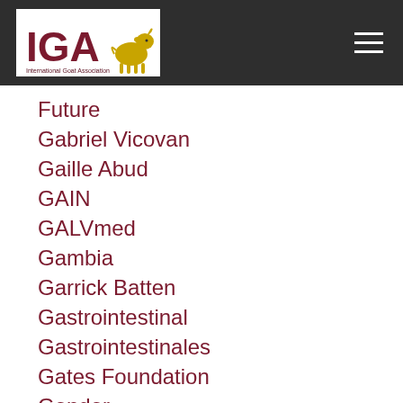IGA - International Goat Association
Future
Gabriel Vicovan
Gaille Abud
GAIN
GALVmed
Gambia
Garrick Batten
Gastrointestinal
Gastrointestinales
Gates Foundation
Gender
Genetic Parameters
Genetics
Genetic Selection
Genomics
George Haenlein